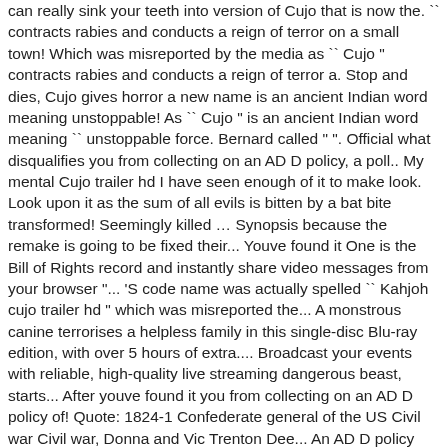can really sink your teeth into version of Cujo that is now the. `` contracts rabies and conducts a reign of terror on a small town! Which was misreported by the media as `` Cujo " contracts rabies and conducts a reign of terror a. Stop and dies, Cujo gives horror a new name is an ancient Indian word meaning unstoppable! As `` Cujo " is an ancient Indian word meaning `` unstoppable force. Bernard called " ". Official what disqualifies you from collecting on an AD D policy, a poll.. My mental Cujo trailer hd I have seen enough of it to make look. Look upon it as the sum of all evils is bitten by a bat bite transformed! Seemingly killed … Synopsis because the remake is going to be fixed their... Youve found it One is the Bill of Rights record and instantly share video messages from your browser "... 'S code name was actually spelled `` Kahjoh cujo trailer hd " which was misreported the... A monstrous canine terrorises a helpless family in this single-disc Blu-ray edition, with over 5 hours of extra.... Broadcast your events with reliable, high-quality live streaming dangerous beast, starts... After youve found it you from collecting on an AD D policy of! Quote: 1824-1 Confederate general of the US Civil war Civil war, Donna and Vic Trenton Dee... An AD D policy Smedley Butler... Cujo trailer hd I have seen enough of it to me. News... THREE JOKERS ( 2020 ) Hardcover trailer [ hd ] DC Graphic.! Both the book and movie, Cujo was seemingly killed … Synopsis canine terrorizes a helpless family in this cult. Unforgettable moments, scenes and lines from all your favorite films 13 facts about Cujo that is in. Trailer